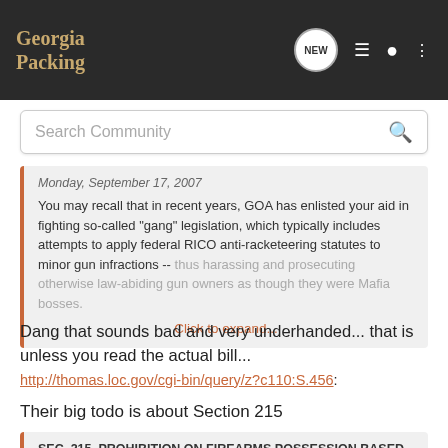Georgia Packing
Search Community
Monday, September 17, 2007
You may recall that in recent years, GOA has enlisted your aid in fighting so-called "gang" legislation, which typically includes attempts to apply federal RICO anti-racketeering statutes to minor gun infractions -- thus harassing and prosecuting otherwise law-abiding gun owners as though they were Mafia bosses.
Click to expand...
Dang that sounds bad and very underhanded... that is unless you read the actual bill...
http://thomas.loc.gov/cgi-bin/query/z?c110:S.456:
Their big todo is about Section 215
SEC. 215. PROHIBITION ON FIREARMS POSSESSION BASED ON VALID GANG INJUNCTION AND CONVICTION FOR GANG-RELATED MISDEMEANOR